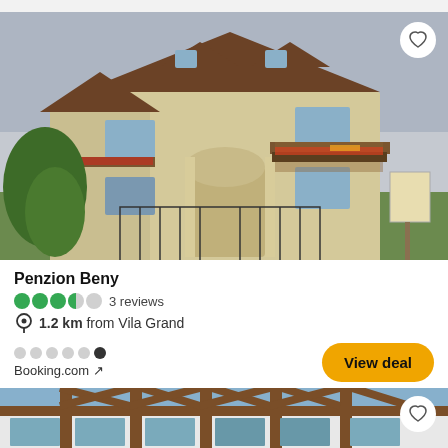[Figure (photo): Exterior photo of Penzion Beny - a two-storey yellow/cream colored house with brown roof, balconies with flower boxes, ornate iron gate, and surrounding garden]
Penzion Beny
3 reviews
1.2 km from Vila Grand
Booking.com ↗
View deal
[Figure (photo): Exterior photo of a second property - a wooden chalet-style building with exposed timber frame structure and large windows, partially visible]